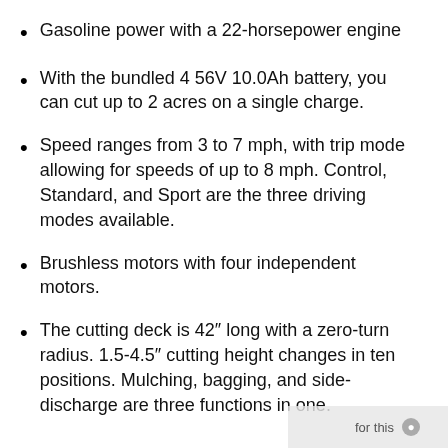Gasoline power with a 22-horsepower engine
With the bundled 4 56V 10.0Ah battery, you can cut up to 2 acres on a single charge.
Speed ranges from 3 to 7 mph, with trip mode allowing for speeds of up to 8 mph. Control, Standard, and Sport are the three driving modes available.
Brushless motors with four independent motors.
The cutting deck is 42″ long with a zero-turn radius. 1.5-4.5″ cutting height changes in ten positions. Mulching, bagging, and side-discharge are three functions in one.